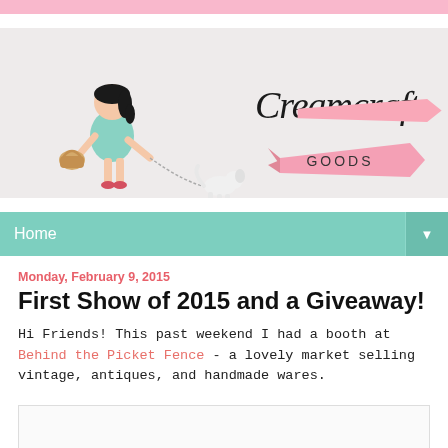[Figure (illustration): Creamcraft Goods blog header banner with stamp/zigzag edges. Shows a hand-drawn illustration of a girl in a teal dress walking a small white dog and carrying a basket. The cursive text 'Creamcraft' appears in the center and a pink ribbon banner with 'GOODS' is shown on the right.]
Home
Monday, February 9, 2015
First Show of 2015 and a Giveaway!
Hi Friends! This past weekend I had a booth at Behind the Picket Fence -  a lovely market selling vintage, antiques, and handmade wares.
[Figure (photo): Empty image placeholder box at the bottom of the page]